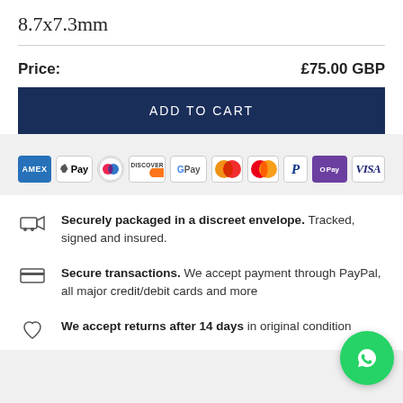8.7x7.3mm
Price: £75.00 GBP
ADD TO CART
[Figure (other): Payment method icons: AMEX, Apple Pay, Diners Club, Discover, Google Pay, Maestro, Mastercard, PayPal, OPay, VISA]
Securely packaged in a discreet envelope. Tracked, signed and insured.
Secure transactions. We accept payment through PayPal, all major credit/debit cards and more
We accept returns after 14 days in original condition